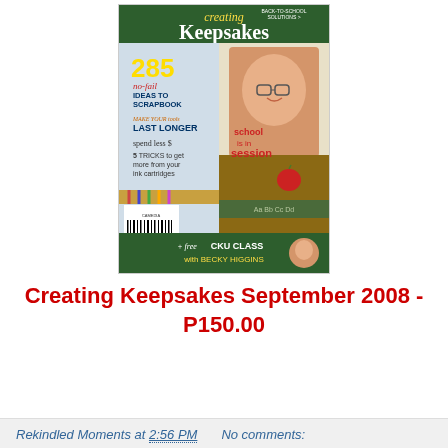[Figure (photo): Magazine cover of Creating Keepsakes September 2008 issue showing a smiling boy with glasses in a school setting, with text: 285 no-fail IDEAS TO SCRAPBOOK, MAKE YOUR tools LAST LONGER, spend less $ 5 TRICKS to get more from your ink cartridges, school is in session, + free CKU CLASS with BECKY HIGGINS, BACK-TO-SCHOOL SOLUTIONS]
Creating Keepsakes September 2008 - P150.00
Rekindled Moments at 2:56 PM    No comments: